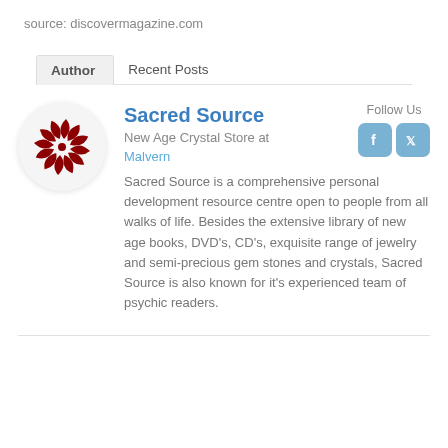source: discovermagazine.com
Author	Recent Posts
[Figure (logo): Sacred Source logo: dark red swirling pinwheel design on white circular background]
Sacred Source
New Age Crystal Store at
Malvern
Follow Us
[Figure (other): Facebook and Twitter social media icons in blue]
Sacred Source is a comprehensive personal development resource centre open to people from all walks of life. Besides the extensive library of new age books, DVD's, CD's, exquisite range of jewelry and semi-precious gem stones and crystals, Sacred Source is also known for it's experienced team of psychic readers.